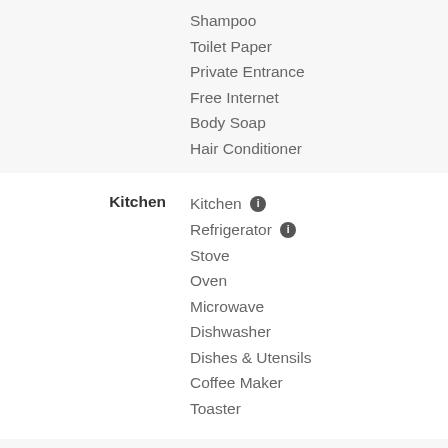Shampoo
Toilet Paper
Private Entrance
Free Internet
Body Soap
Hair Conditioner
Kitchen
Kitchen
Refrigerator
Stove
Oven
Microwave
Dishwasher
Dishes & Utensils
Coffee Maker
Toaster
Bathrooms
1 Bath
– Jetted Tub, Toilet